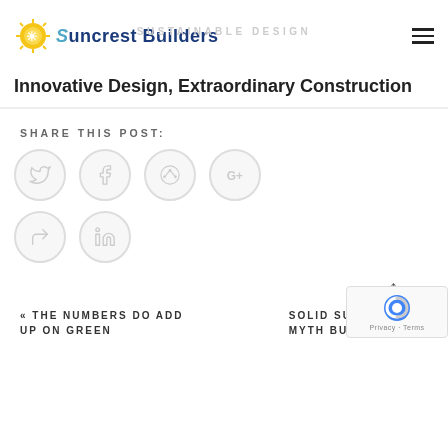Suncrest Builders / SUSTAINABLE DESIGN
Innovative Design, Extraordinary Construction
SHARE THIS POST:
[Figure (other): Social share icons: Twitter, Facebook, Pinterest, Google+, Share/Forward, LinkedIn — all in light grey circles]
↑
« THE NUMBERS DO ADD UP ON GREEN   SOLID SURFACE CO... MYTH BUS...